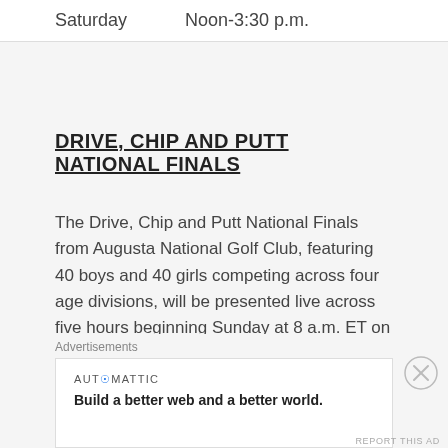| Day | Time |
| --- | --- |
| Saturday | Noon-3:30 p.m. |
DRIVE, CHIP AND PUTT NATIONAL FINALS
The Drive, Chip and Putt National Finals from Augusta National Golf Club, featuring 40 boys and 40 girls competing across four age divisions, will be presented live across five hours beginning Sunday at 8 a.m. ET on GOLF Channel.
Advertisements
[Figure (other): Automattic advertisement: Build a better web and a better world.]